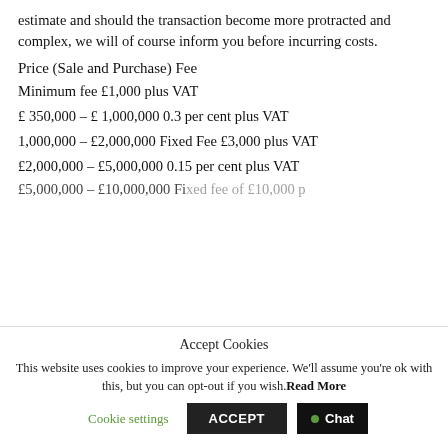estimate and should the transaction become more protracted and complex, we will of course inform you before incurring costs.
Price (Sale and Purchase) Fee
Minimum fee £1,000 plus VAT
£ 350,000 – £ 1,000,000 0.3 per cent plus VAT
1,000,000 – £2,000,000 Fixed Fee £3,000 plus VAT
£2,000,000 – £5,000,000 0.15 per cent plus VAT
£5,000,000 – £10,000,000 Fixed fee of £10,000 plus...
Accept Cookies
This website uses cookies to improve your experience. We'll assume you're ok with this, but you can opt-out if you wish. Read More
Cookie settings | ACCEPT | Chat